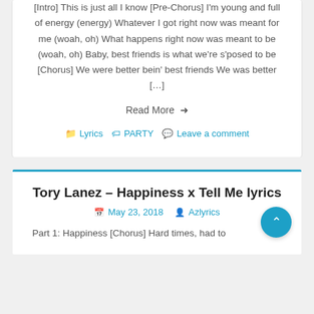[Intro] This is just all I know [Pre-Chorus] I'm young and full of energy (energy) Whatever I got right now was meant for me (woah, oh) What happens right now was meant to be (woah, oh) Baby, best friends is what we're s'posed to be [Chorus] We were better bein' best friends We was better […]
Read More →
Lyrics  PARTY  Leave a comment
Tory Lanez – Happiness x Tell Me lyrics
May 23, 2018  Azlyrics
Part 1: Happiness [Chorus] Hard times, had to